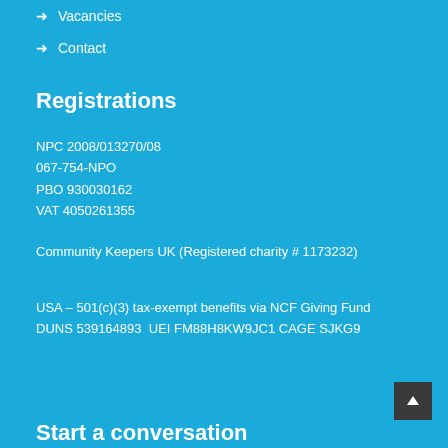→ Vacancies
→ Contact
Registrations
NPC 2008/013270/08
067-754-NPO
PBO 930030162
VAT 4050261355
Community Keepers UK (Registered charity # 1173232)
USA – 501(c)(3) tax-exempt benefits via NCF Giving Fund
DUNS 539164893  UEI FM88H8KW9JC1 CAGE SJKG9
Start a conversation